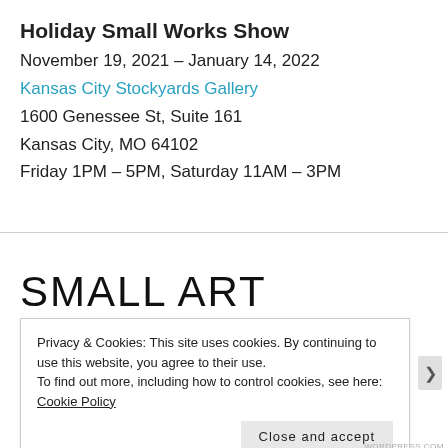Holiday Small Works Show
November 19, 2021 – January 14, 2022
Kansas City Stockyards Gallery
1600 Genessee St, Suite 161
Kansas City, MO 64102
Friday 1PM – 5PM, Saturday 11AM – 3PM
SMALL ART
Privacy & Cookies: This site uses cookies. By continuing to use this website, you agree to their use.
To find out more, including how to control cookies, see here: Cookie Policy
Close and accept